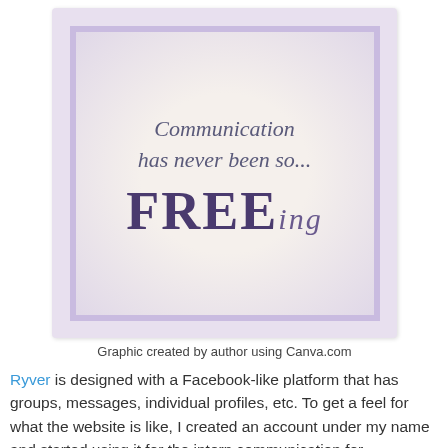[Figure (illustration): Decorative graphic with lavender border frames on cream/parchment background. Text reads: 'Communication has never been so... FREEing' in cursive and bold serif fonts. Purple/violet color scheme.]
Graphic created by author using Canva.com
Ryver is designed with a Facebook-like platform that has groups, messages, individual profiles, etc. To get a feel for what the website is like, I created an account under my name and started using it for the intern communication for Legendary Weddings and Special Events.